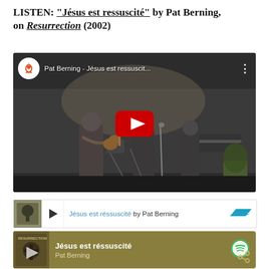LISTEN: “Jésus est ressuscité” by Pat Berning, on Resurrection (2002)
[Figure (screenshot): YouTube video thumbnail showing Pat Berning playing guitar on stage with the video title 'Pat Berning - Jésus est ressuscit...' and a large red YouTube play button in the center.]
[Figure (screenshot): Bandcamp embedded player showing 'Jésus est réssuscité by Pat Berning' with album art, play button, and Bandcamp logo.]
[Figure (screenshot): Spotify embedded player on olive/gold background showing 'Jésus est réssuscité' by Pat Berning with album art and Spotify icon.]